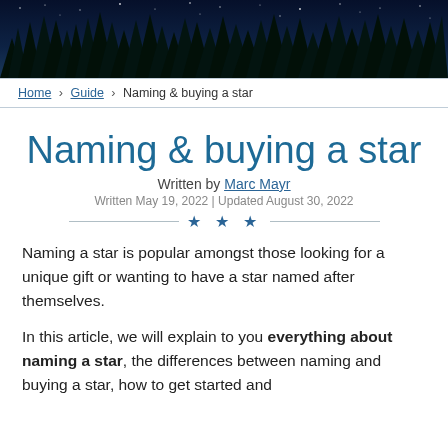[Figure (photo): Night sky with silhouetted pine trees against a dark blue starry sky background]
Home › Guide › Naming & buying a star
Naming & buying a star
Written by Marc Mayr
Written May 19, 2022 | Updated August 30, 2022
Naming a star is popular amongst those looking for a unique gift or wanting to have a star named after themselves.
In this article, we will explain to you everything about naming a star, the differences between naming and buying a star, how to get started and